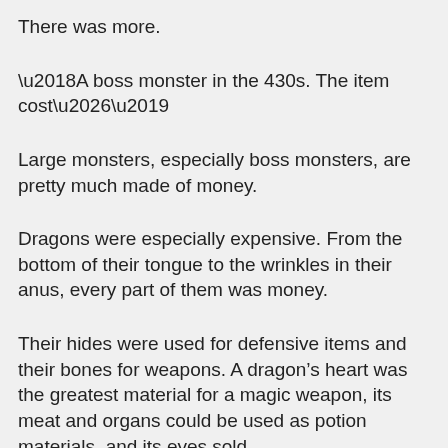There was more.
‘A boss monster in the 430s. The item cost…’
Large monsters, especially boss monsters, are pretty much made of money.
Dragons were especially expensive. From the bottom of their tongue to the wrinkles in their anus, every part of them was money.
Their hides were used for defensive items and their bones for weapons. A dragon’s heart was the greatest material for a magic weapon, its meat and organs could be used as potion materials, and its eyes sold